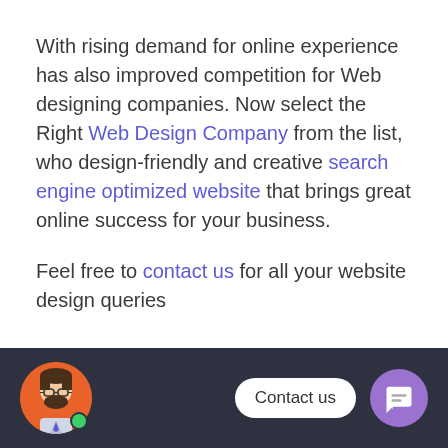With rising demand for online experience has also improved competition for Web designing companies. Now select the Right Web Design Company from the list, who design-friendly and creative search engine optimized website that brings great online success for your business.
Feel free to contact us for all your website design queries
READ MORE
[Figure (illustration): Footer bar with avatar illustration of a bearded man with glasses on orange background, online indicator dot, contact us speech bubble, and purple chat button]